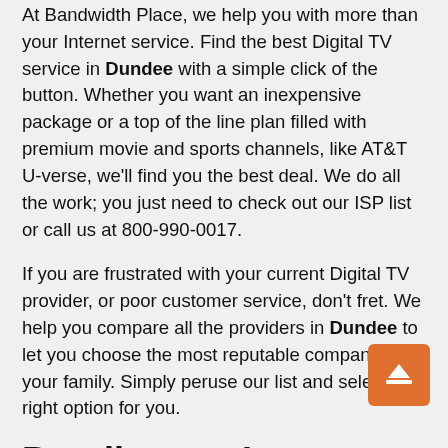At Bandwidth Place, we help you with more than your Internet service. Find the best Digital TV service in Dundee with a simple click of the button. Whether you want an inexpensive package or a top of the line plan filled with premium movie and sports channels, like AT&T U-verse, we'll find you the best deal. We do all the work; you just need to check out our ISP list or call us at 800-990-0017.
If you are frustrated with your current Digital TV provider, or poor customer service, don't fret. We help you compare all the providers in Dundee to let you choose the most reputable company for your family. Simply peruse our list and select the right option for you.
Bundle your Internet, Digital TV, and Phone Service for the Best Deal